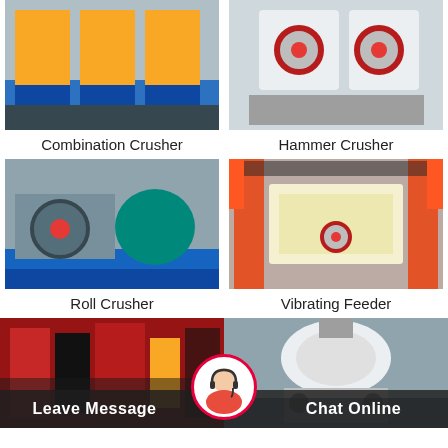[Figure (photo): Combination Crusher machines lined up in an outdoor factory setting, painted blue]
[Figure (photo): Hammer Crusher machines in white and red on a concrete surface]
Combination Crusher
Hammer Crusher
[Figure (photo): Roll Crusher machine in a factory warehouse with blue base]
[Figure (photo): Vibrating Feeder large yellow/cream machine being moved by crane with red legs]
Roll Crusher
Vibrating Feeder
[Figure (photo): Red and black crusher machinery parts stacked]
[Figure (photo): White cone crusher machine in factory]
Leave Message
Chat Online